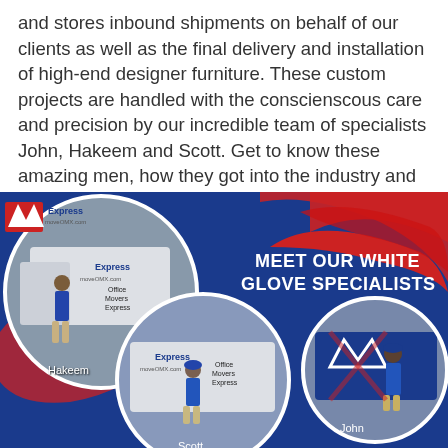and stores inbound shipments on behalf of our clients as well as the final delivery and installation of high-end designer furniture. These custom projects are handled with the conscienscous care and precision by our incredible team of specialists John, Hakeem and Scott. Get to know these amazing men, how they got into the industry and more in the below Q&A:
[Figure (photo): Promotional image for Office Movers Express showing three circular photos of white glove specialists (Hakeem, Scott, and John) standing in front of branded trucks, on a blue and red background with text 'MEET OUR WHITE GLOVE SPECIALISTS']